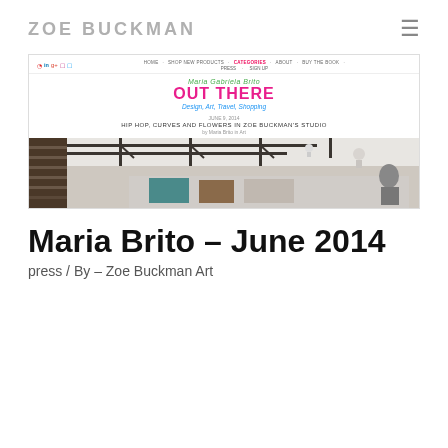ZOE BUCKMAN
[Figure (screenshot): Screenshot of the 'Out There' blog by Maria Gabriela Brito showing navigation, blog header with pink 'OUT THERE' title, article title 'HIP HOP, CURVES AND FLOWERS IN ZOE BUCKMAN'S STUDIO', and a photo of a studio interior with ceiling-mounted pipe rails.]
Maria Brito – June 2014
press / By – Zoe Buckman Art